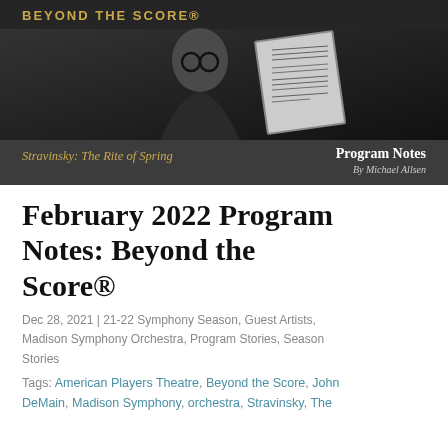[Figure (photo): Banner image for 'Beyond the Score' program featuring a black-and-white photo of Stravinsky holding a musical score, with gold text reading 'BEYOND THE SCORE' at the top, 'Stravinsky: The Rite of Spring' in gold italic text at the bottom left, and 'Program Notes / By Michael Allsen' in white text at the bottom right on a dark gray background.]
February 2022 Program Notes: Beyond the Score®
Dec 28, 2021 | 21-22 Symphony Season, Guest Artists, Madison Symphony Orchestra, Program Stories, Season Stories
Tags: American Players Theatre, Beyond the Score, John DeMain, Madison Symphony, orchestra, Stravinsky, The